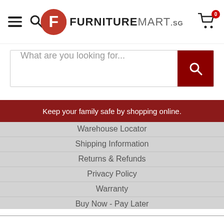[Figure (screenshot): FurnitureMart.sg website navigation header with hamburger menu, search icon, logo, and cart icon with badge showing 0]
[Figure (screenshot): Search bar with placeholder text 'What are you looking for...' and red search button]
Keep your family safe by shopping online.
Warehouse Locator
Shipping Information
Returns & Refunds
Privacy Policy
Warranty
Buy Now - Pay Later